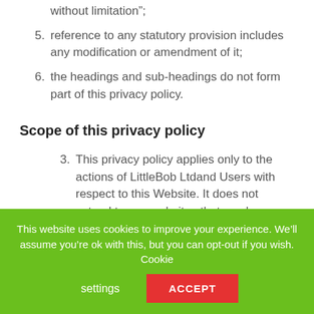without limitation”;
5. reference to any statutory provision includes any modification or amendment of it;
6. the headings and sub-headings do not form part of this privacy policy.
Scope of this privacy policy
3. This privacy policy applies only to the actions of LittleBob Ltdand Users with respect to this Website. It does not extend to any websites that can be accessed from this Website.
This website uses cookies to improve your experience. We’ll assume you’re ok with this, but you can opt-out if you wish. Cookie settings ACCEPT